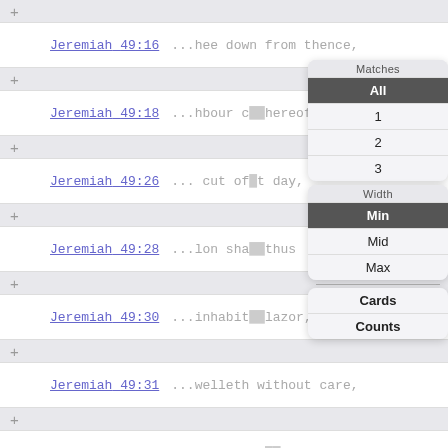+ Jeremiah 49:16 ...hee down from thence,
+ Jeremiah 49:18 ...hbour c...hereof,
+ Jeremiah 49:26 ... cut of...t day,
+ Jeremiah 49:28 ...lon sha...thus
+ Jeremiah 49:30 ...inhabit...lazor,
+ Jeremiah 49:31 ...welleth without care,
+ Jeremiah 49:32 ...om all si...hereof,
+ Jeremiah 49:35 Thus
+ Jeremiah 49:37 ...even my fierce anger,
+ Jeremiah 49:38 ...king and the princes,
+ Jeremiah 49:39 ...he captivity of Elam,
[Figure (screenshot): Dropdown menu overlay showing 'Matches' section with options All (selected), 1, 2, 3 and 'Width' section with options Min (selected), Mid, Max, and a second section with Cards and Counts buttons.]